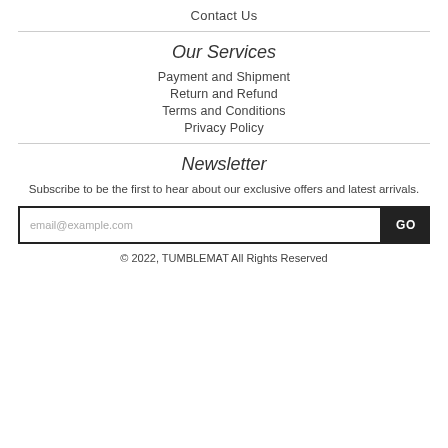Contact Us
Our Services
Payment and Shipment
Return and Refund
Terms and Conditions
Privacy Policy
Newsletter
Subscribe to be the first to hear about our exclusive offers and latest arrivals.
email@example.com [input field] GO [button]
© 2022, TUMBLEMAT All Rights Reserved